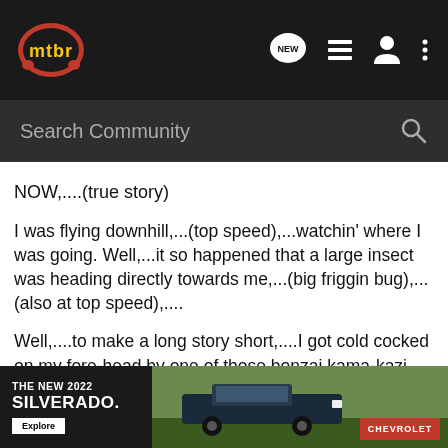mtbr navigation bar with logo, NEW chat icon, list icon, profile icon, menu icon
Search Community
NOW,....(true story)
I was flying downhill,...(top speed),...watchin' where I was going. Well,...it so happened that a large insect was heading directly towards me,...(big friggin bug),...(also at top speed),....
Well,....to make a long story short,....I got cold cocked on my fore-head by one of those bonzai kama-kazi ballistic .45 cal. june bugs,...nearly knocked me off my bike and left a whelp on my fore-head for days.
The only down side of ingesting insects are the big crunchy ones,.....(their lil' legs git stuck between my teeth),.....(juz kiddin'),
[Figure (screenshot): Advertisement banner for The New 2022 Silverado by Chevrolet with Explore button and truck image on green/forest background]